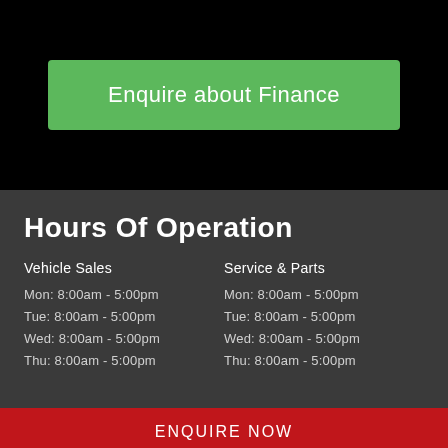Enquire about Finance
Hours Of Operation
Vehicle Sales
Service & Parts
Mon:  8:00am - 5:00pm
Tue:  8:00am - 5:00pm
Wed:  8:00am - 5:00pm
Thu:  8:00am - 5:00pm
Mon:  8:00am - 5:00pm
Tue:  8:00am - 5:00pm
Wed:  8:00am - 5:00pm
Thu:  8:00am - 5:00pm
ENQUIRE NOW